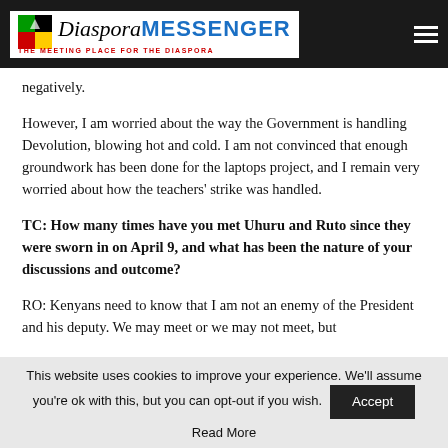Diaspora Messenger — THE MEETING PLACE FOR THE DIASPORA
negatively.
However, I am worried about the way the Government is handling Devolution, blowing hot and cold. I am not convinced that enough groundwork has been done for the laptops project, and I remain very worried about how the teachers' strike was handled.
TC: How many times have you met Uhuru and Ruto since they were sworn in on April 9, and what has been the nature of your discussions and outcome?
RO: Kenyans need to know that I am not an enemy of the President and his deputy. We may meet or we may not meet, but
This website uses cookies to improve your experience. We'll assume you're ok with this, but you can opt-out if you wish. Accept
Read More